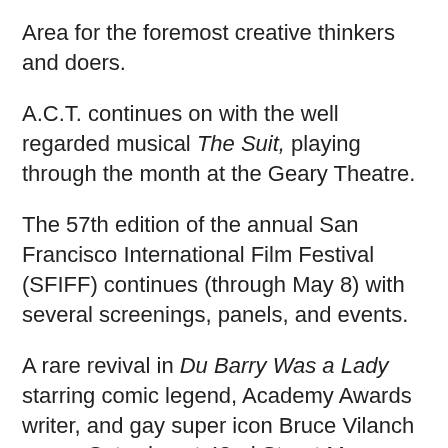Area for the foremost creative thinkers and doers.
A.C.T. continues on with the well regarded musical The Suit, playing through the month at the Geary Theatre.
The 57th edition of the annual San Francisco International Film Festival (SFIFF) continues (through May 8) with several screenings, panels, and events.
A rare revival in Du Barry Was a Lady starring comic legend, Academy Awards writer, and gay super icon Bruce Vilanch opens Saturday at 42nd Street Moon.